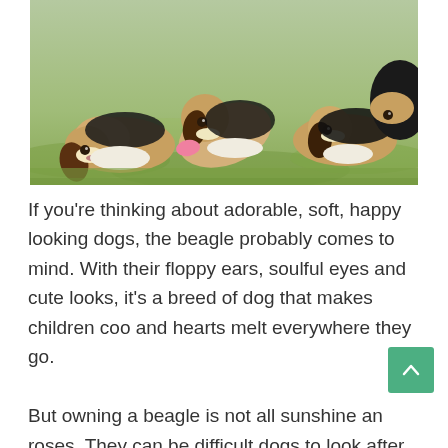[Figure (photo): Photo of several beagle puppies playing on green grass, some lying down, one biting a pink toy.]
If you're thinking about adorable, soft, happy looking dogs, the beagle probably comes to mind. With their floppy ears, soulful eyes and cute looks, it's a breed of dog that makes children coo and hearts melt everywhere they go.

But owning a beagle is not all sunshine and roses. They can be difficult dogs to look after,